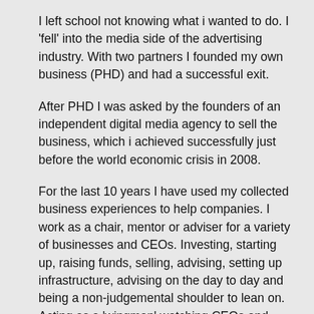I left school not knowing what i wanted to do. I 'fell' into the media side of the advertising industry. With two partners I founded my own business (PHD) and had a successful exit.
After PHD I was asked by the founders of an independent digital media agency to sell the business, which i achieved successfully just before the world economic crisis in 2008.
For the last 10 years I have used my collected business experiences to help companies. I work as a chair, mentor or adviser for a variety of businesses and CEOs. Investing, starting up, raising funds, selling, advising, setting up infrastructure, advising on the day to day and being a non-judgemental shoulder to lean on. Acting as a 'wingman' watching CEOs and companies' backs and witnessing first-hand the ups and downs of start-up and young company life.